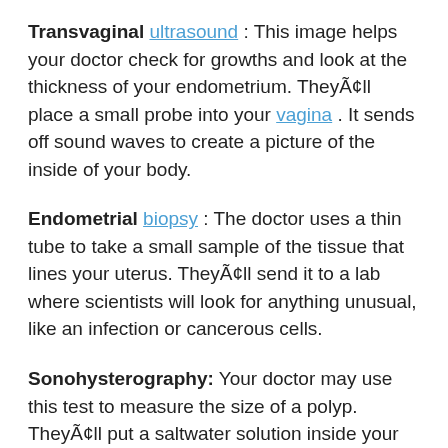Transvaginal ultrasound: This image helps your doctor check for growths and look at the thickness of your endometrium. TheyÃ¢ll place a small probe into your vagina. It sends off sound waves to create a picture of the inside of your body.
Endometrial biopsy: The doctor uses a thin tube to take a small sample of the tissue that lines your uterus. TheyÃ¢ll send it to a lab where scientists will look for anything unusual, like an infection or cancerous cells.
Sonohysterography: Your doctor may use this test to measure the size of a polyp. TheyÃ¢ll put a saltwater solution inside your uterus to create a clearer ultrasound image.